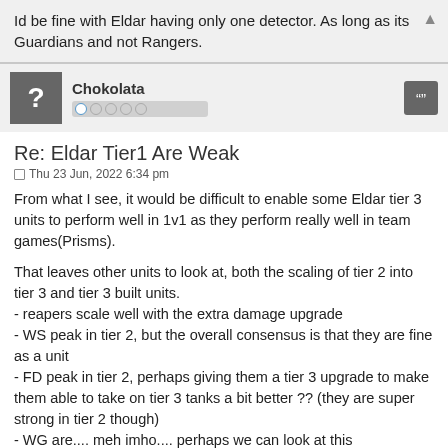Id be fine with Eldar having only one detector. As long as its Guardians and not Rangers.
Chokolata
Re: Eldar Tier1 Are Weak
Thu 23 Jun, 2022 6:34 pm
From what I see, it would be difficult to enable some Eldar tier 3 units to perform well in 1v1 as they perform really well in team games(Prisms).
That leaves other units to look at, both the scaling of tier 2 into tier 3 and tier 3 built units.
- reapers scale well with the extra damage upgrade
- WS peak in tier 2, but the overall consensus is that they are fine as a unit
- FD peak in tier 2, perhaps giving them a tier 3 upgrade to make them able to take on tier 3 tanks a bit better ?? (they are super strong in tier 2 though)
- WG are.... meh imho.... perhaps we can look at this
- Seers are great units overall
- Falcons and WLs are great and have great upgrades. I personally dislike Falcons as tier 2 units but that is my problem
- Prisms are weak in 1v1 on half the maps and usable on the other half, but they seem to excel in team games (or so I'm told)